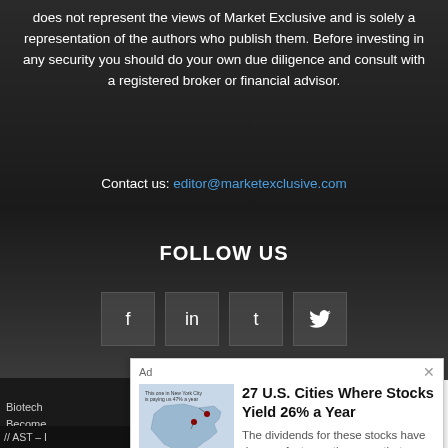does not represent the views of Market Exclusive and is solely a representation of the authors who publish them. Before investing in any security you should do your own due diligence and consult with a registered broker or financial advisor.
Contact us: editor@marketexclusive.com
FOLLOW US
[Figure (infographic): Social media icons: Facebook (f), LinkedIn (in), Tumblr (t), Twitter bird icon]
[Figure (infographic): Advertisement popup: Map of US cities. Ad title: 27 U.S. Cities Where Stocks Yield 26% a Year. Description: The dividends for these stocks have risen so fast over the years that they're now yielding us an average of 26%! Button: FULL STORY HERE]